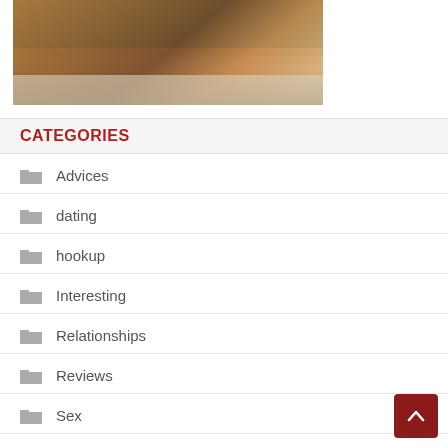[Figure (photo): Person in black bikini sitting by a turquoise pool, photographed from behind]
CATEGORIES
Advices
dating
hookup
Interesting
Relationships
Reviews
Sex